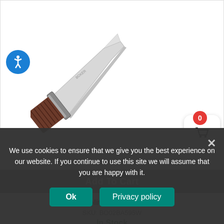[Figure (photo): Product photo of a Boker Arbolito El Gigante knife with a long silver blade and brown textured handle, shown diagonally on a white background.]
Add To Cart
Boker Arbolito El Gigante (9.25")
SKU: BO02BA595W
In Stock
MSRP : $249.00
Sale Price : $199.20
We use cookies to ensure that we give you the best experience on our website. If you continue to use this site we will assume that you are happy with it.
Ok
Privacy policy